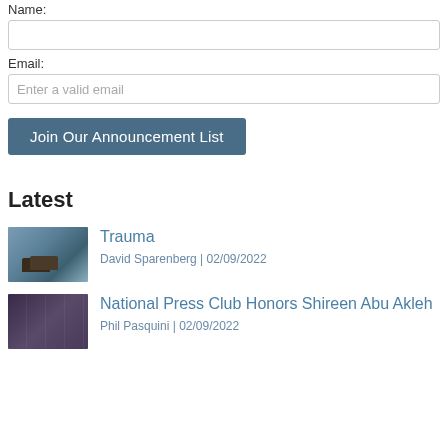Name:
Email:
Enter a valid email
Join Our Announcement List
Latest
[Figure (photo): A person near water, possibly a dock or flooded area]
Trauma
David Sparenberg | 02/09/2022
[Figure (photo): Two women at an awards ceremony, one holding a framed award]
National Press Club Honors Shireen Abu Akleh
Phil Pasquini | 02/09/2022